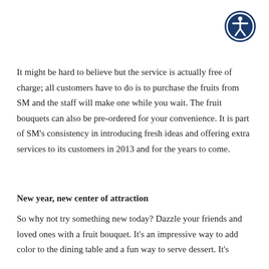[Figure (logo): Accessibility icon: white stick figure person on a dark blue circle with a white ring border]
It might be hard to believe but the service is actually free of charge; all customers have to do is to purchase the fruits from SM and the staff will make one while you wait. The fruit bouquets can also be pre-ordered for your convenience. It is part of SM's consistency in introducing fresh ideas and offering extra services to its customers in 2013 and for the years to come.
New year, new center of attraction
So why not try something new today? Dazzle your friends and loved ones with a fruit bouquet. It's an impressive way to add color to the dining table and a fun way to serve dessert. It's